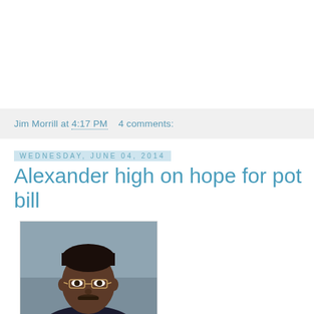Jim Morrill at 4:17 PM    4 comments:
Wednesday, June 04, 2014
Alexander high on hope for pot bill
[Figure (photo): Portrait photo of a man with glasses, dark complexion, wearing a suit, against a grey background]